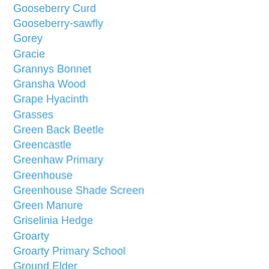Gooseberry Curd
Gooseberry-sawfly
Gorey
Gracie
Grannys Bonnet
Gransha Wood
Grape Hyacinth
Grasses
Green Back Beetle
Greencastle
Greenhaw Primary
Greenhouse
Greenhouse Shade Screen
Green Manure
Griselinia Hedge
Groarty
Groarty Primary School
Ground Elder
Groundsel
Groundwork NI
Growing Garlic In Pots